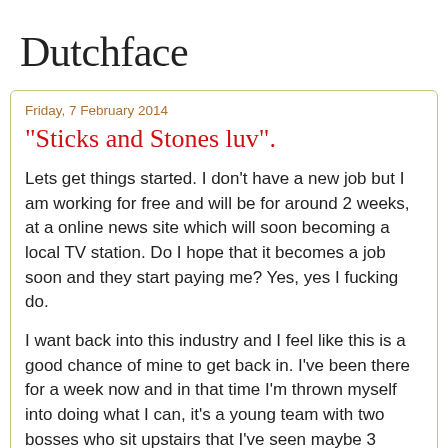Dutchface
Friday, 7 February 2014
"Sticks and Stones luv".
Lets get things started. I don't have a new job but I am working for free and will be for around 2 weeks, at a online news site which will soon becoming a local TV station. Do I hope that it becomes a job soon and they start paying me? Yes, yes I fucking do.
I want back into this industry and I feel like this is a good chance of mine to get back in. I've been there for a week now and in that time I'm thrown myself into doing what I can, it's a young team with two bosses who sit upstairs that I've seen maybe 3 times. We're left to get on with out work, that's cool I like that, it works great.
The people who I've been working with seem like good